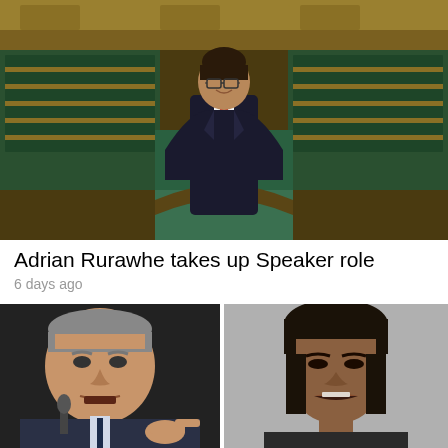[Figure (photo): Adrian Rurawhe standing in front of the New Zealand Parliament chamber, wearing a dark suit with a red tie and glasses, smiling at the camera. The parliamentary chamber with green seats and wooden fixtures is visible in the background.]
Adrian Rurawhe takes up Speaker role
6 days ago
[Figure (photo): Close-up photo of a man in a suit pointing with his finger, speaking or gesturing, partial face visible, dark background.]
[Figure (photo): Close-up photo of a woman with dark hair speaking passionately, mouth open, grey background.]